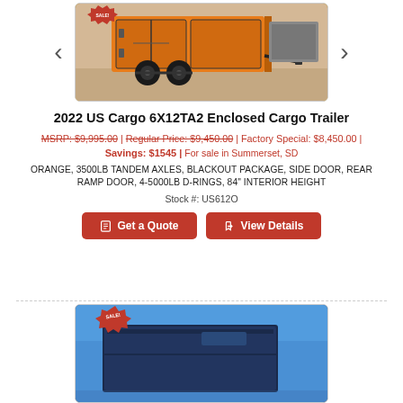[Figure (photo): Orange enclosed cargo trailer with black wheels, shown outdoors. Navigation arrows on left and right sides.]
2022 US Cargo 6X12TA2 Enclosed Cargo Trailer
MSRP: $9,995.00 | Regular Price: $9,450.00 | Factory Special: $8,450.00 | Savings: $1545 | For sale in Summerset, SD
ORANGE, 3500LB TANDEM AXLES, BLACKOUT PACKAGE, SIDE DOOR, REAR RAMP DOOR, 4-5000LB D-RINGS, 84" INTERIOR HEIGHT
Stock #: US612O
Get a Quote | View Details
[Figure (photo): Blue enclosed cargo trailer shown against blue sky, with a red SALE! starburst badge in upper left corner.]